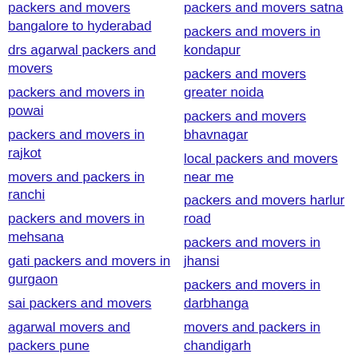packers and movers bangalore to hyderabad
packers and movers satna
drs agarwal packers and movers
packers and movers in kondapur
packers and movers in powai
packers and movers greater noida
packers and movers in rajkot
packers and movers bhavnagar
movers and packers in ranchi
local packers and movers near me
packers and movers in mehsana
packers and movers harlur road
gati packers and movers in gurgaon
packers and movers in jhansi
sai packers and movers
packers and movers in darbhanga
agarwal movers and packers pune
movers and packers in chandigarh
packers and movers in bareilly
sharma packers and movers
packers and movers cochin
packers and movers in cochin
movers and packers borivali
packers and movers in ambala
packers and movers ahmadabad
packers and movers pimpri chinchwad
packers and movers pune charges
agarwal packers and movers coimbatore